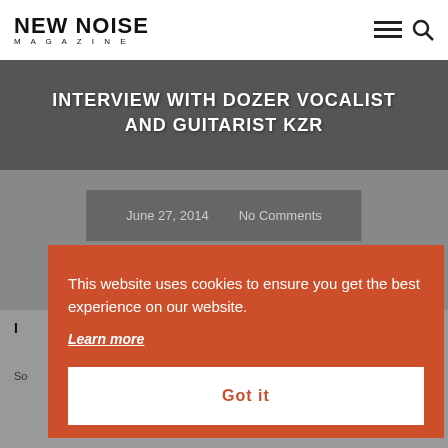NEW NOISE MAGAZINE
INTERVIEW WITH DOZER VOCALIST AND GUITARIST KZR
June 27, 2014   No Comments
I
So
This website uses cookies to ensure you get the best experience on our website.
Learn more
Got it